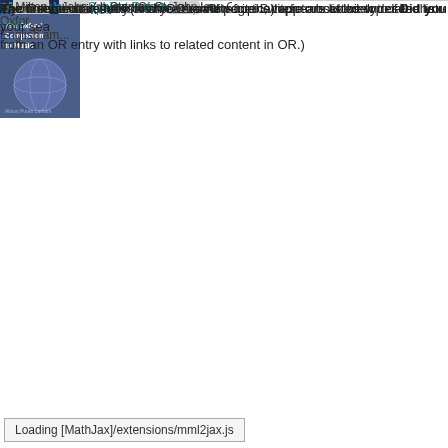[Figure (illustration): Book cover for The Oxford Companion to Music (top, partial)]
Reference type: Subject Reference  Le
... Milton , John ( b Stanton St John , nr. Oxfo
[Figure (illustration): Book cover for The Oxford Companion to Music (second entry)]
Milton, John c.
The Oxford Companion to Music (1 rev ed.)
Subject: Music   Cu
Reference type: Subject Reference   Le
... Milton , John ( b Stanton St John , nr Oxfor English am...
Each result is an entry or an Overview page. Switch to book view to see the results of
If your term could refer to more than one topic, these are listed under Did you mean:
The number of results (and your search criteria) appears at the top of the list.
The Overview
The first result in the list is the Overview for the topic most closely related to your sea from an OR entry with links to related content in OR.)
Loading [MathJax]/extensions/mml2jax.js